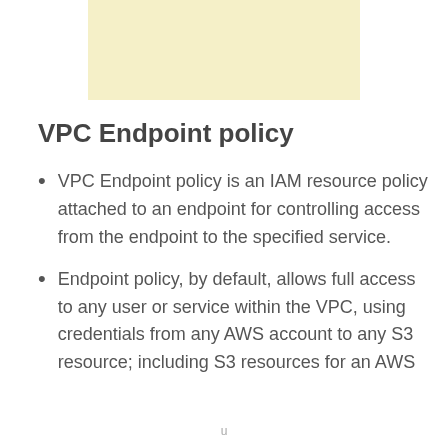[Figure (other): Light yellow rectangular banner or image placeholder at the top center of the page]
VPC Endpoint policy
VPC Endpoint policy is an IAM resource policy attached to an endpoint for controlling access from the endpoint to the specified service.
Endpoint policy, by default, allows full access to any user or service within the VPC, using credentials from any AWS account to any S3 resource; including S3 resources for an AWS
u